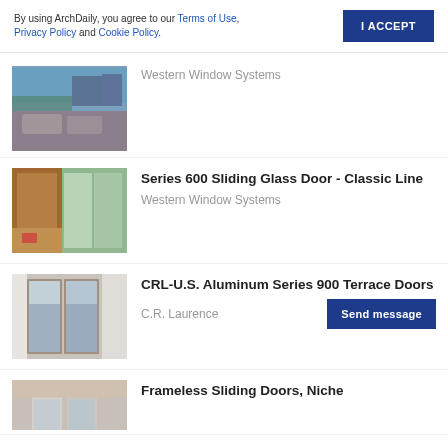By using ArchDaily, you agree to our Terms of Use, Privacy Policy and Cookie Policy.
I ACCEPT
[Figure (photo): Rooftop terrace with sofa seating and city/water view, partial crop at top]
Western Window Systems
[Figure (photo): Interior room with large sliding glass door open to exterior, wood paneling and flooring]
Series 600 Sliding Glass Door - Classic Line
Western Window Systems
[Figure (photo): Glass terrace doors with aluminum frame, city view in background]
CRL-U.S. Aluminum Series 900 Terrace Doors
C.R. Laurence
Send message
[Figure (photo): Frameless sliding doors, partial crop at bottom]
Frameless Sliding Doors, Niche